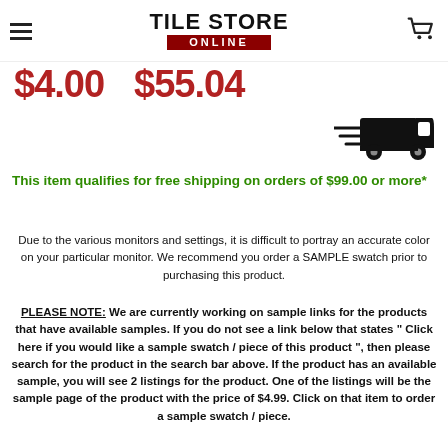TILE STORE ONLINE
$4.00  $55.04
[Figure (illustration): Fast delivery truck icon with speed lines]
This item qualifies for free shipping on orders of $99.00 or more*
Due to the various monitors and settings, it is difficult to portray an accurate color on your particular monitor. We recommend you order a SAMPLE swatch prior to purchasing this product.
PLEASE NOTE:  We are currently working on sample links for the products that have available samples. If you do not see a link below that states " Click here if you would like a sample swatch / piece of this product ", then please search for the product in the search bar above. If the product has an available sample, you will see 2 listings for the product. One of the listings will be the sample page of the product with the price of $4.99. Click on that item to order a sample swatch / piece.